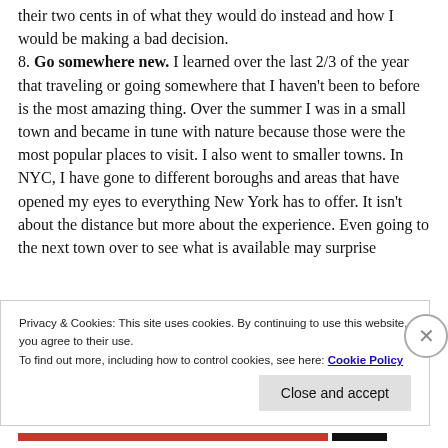their two cents in of what they would do instead and how I would be making a bad decision. 8. Go somewhere new. I learned over the last 2/3 of the year that traveling or going somewhere that I haven't been to before is the most amazing thing. Over the summer I was in a small town and became in tune with nature because those were the most popular places to visit. I also went to smaller towns. In NYC, I have gone to different boroughs and areas that have opened my eyes to everything New York has to offer. It isn't about the distance but more about the experience. Even going to the next town over to see what is available may surprise
Privacy & Cookies: This site uses cookies. By continuing to use this website, you agree to their use. To find out more, including how to control cookies, see here: Cookie Policy
Close and accept